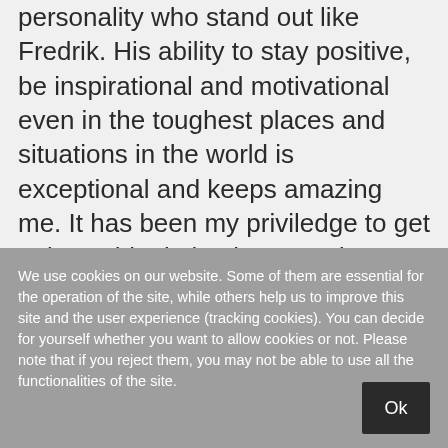personality who stand out like Fredrik. His ability to stay positive, be inspirational and motivational even in the toughest places and situations in the world is exceptional and keeps amazing me. It has been my priviledge to get to know him in business and as a friend in mentoring. In his speaks and workshops Fredrik's exceptional story and life experience comes out naturally, to which you
We use cookies on our website. Some of them are essential for the operation of the site, while others help us to improve this site and the user experience (tracking cookies). You can decide for yourself whether you want to allow cookies or not. Please note that if you reject them, you may not be able to use all the functionalities of the site.